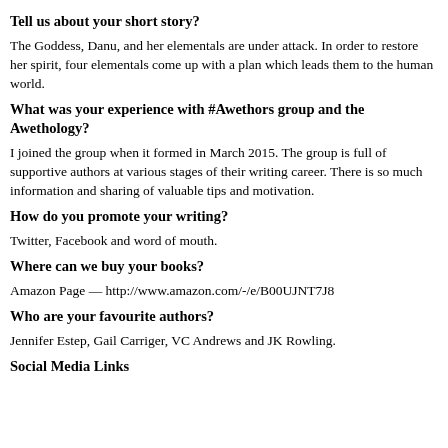Tell us about your short story?
The Goddess, Danu, and her elementals are under attack.  In order to restore her spirit, four elementals come up with a plan which leads them to the human world.
What was your experience with #Awethors group and the Awethology?
I joined the group when it formed in March 2015.  The group is full of supportive authors at various stages of their writing career.  There is so much information and sharing of valuable tips and motivation.
How do you promote your writing?
Twitter, Facebook and word of mouth.
Where can we buy your books?
Amazon Page — http://www.amazon.com/-/e/B00UJNT7J8
Who are your favourite authors?
Jennifer Estep, Gail Carriger, VC Andrews and JK Rowling.
Social Media Links